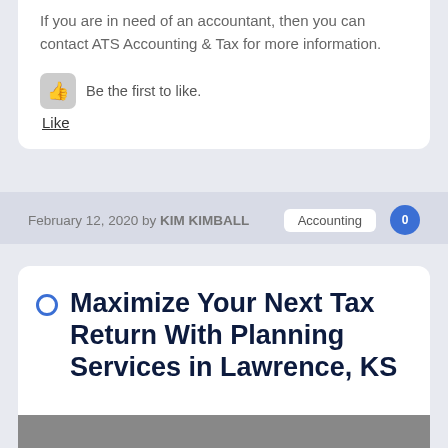If you are in need of an accountant, then you can contact ATS Accounting & Tax for more information.
Be the first to like.
Like
February 12, 2020 by KIM KIMBALL   Accounting   0
Maximize Your Next Tax Return With Planning Services in Lawrence, KS